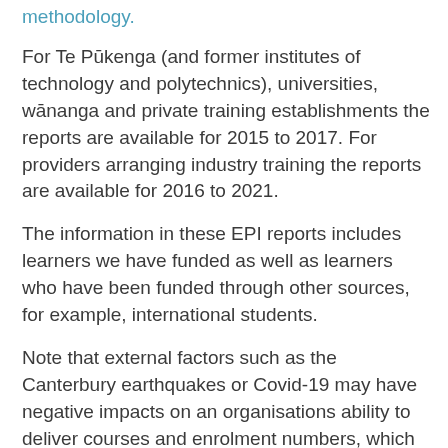methodology.
For Te Pūkenga (and former institutes of technology and polytechnics), universities, wānanga and private training establishments the reports are available for 2015 to 2017. For providers arranging industry training the reports are available for 2016 to 2021.
The information in these EPI reports includes learners we have funded as well as learners who have been funded through other sources, for example, international students.
Note that external factors such as the Canterbury earthquakes or Covid-19 may have negative impacts on an organisations ability to deliver courses and enrolment numbers, which may in turn affect educational performance.